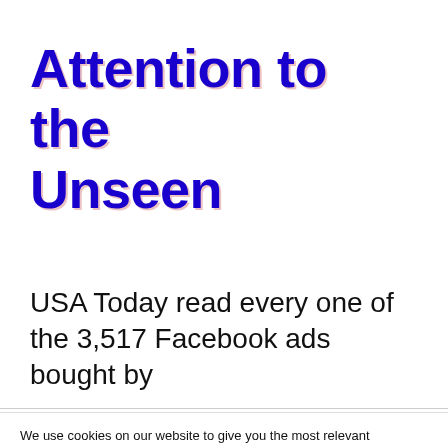Attention to the Unseen
USA Today read every one of the 3,517 Facebook ads bought by
We use cookies on our website to give you the most relevant experience by remembering your preferences and repeat visits. By clicking “Accept”, you consent to the use of ALL the cookies.
Do not sell my personal information.
Cookie Settings   Accept